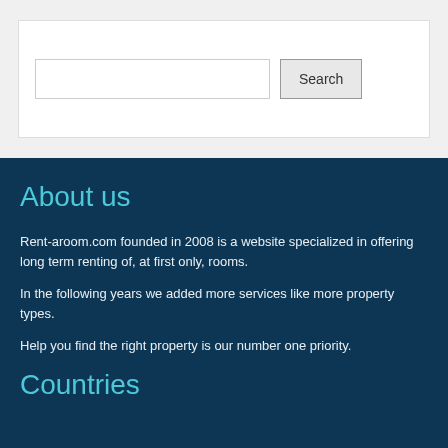[Figure (other): Search input field with Search button inside a white bordered box]
About us
Rent-aroom.com founded in 2008 is a website specialized in offering long term renting of, at first only, rooms.
In the following years we added more services like more property types.
Help you find the right property is our number one priority.
Countries